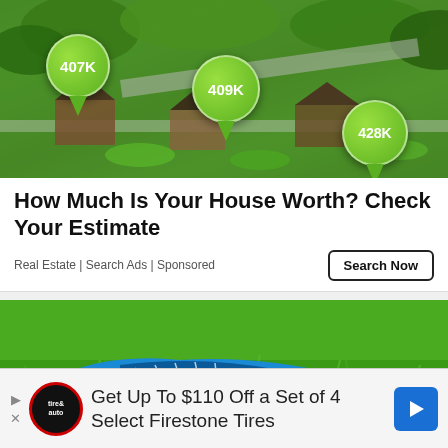[Figure (photo): Aerial view of suburban neighborhood with green map pin markers showing home prices: 407K, 409K, 428K]
How Much Is Your House Worth? Check Your Estimate
Real Estate | Search Ads | Sponsored
[Figure (photo): Blue ASICS running shoe in green grass]
Get Up To $110 Off a Set of 4 Select Firestone Tires